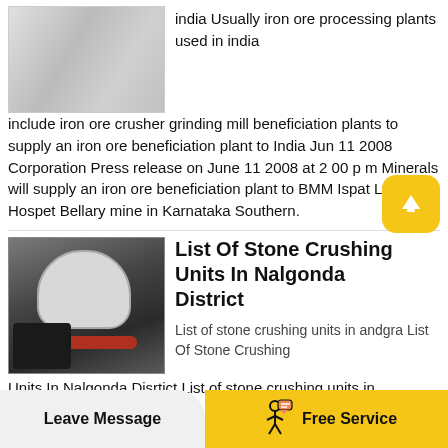[Figure (photo): Photo of white industrial crusher or mill equipment]
india Usually iron ore processing plants used in india include iron ore crusher grinding mill beneficiation plants to supply an iron ore beneficiation plant to India Jun 11 2008 Corporation Press release on June 11 2008 at 2 00 p m Minerals will supply an iron ore beneficiation plant to BMM Ispat Ltd's Hospet Bellary mine in Karnataka Southern.
[Figure (photo): Photo of a large industrial cone crusher or grinding mill machine in a factory setting]
List Of Stone Crushing Units In Nalgonda District
List of stone crushing units in andgra List Of Stone Crushing Units In Nalgonda Disrtict List of stone crushing units in
Leave Message   Free Service